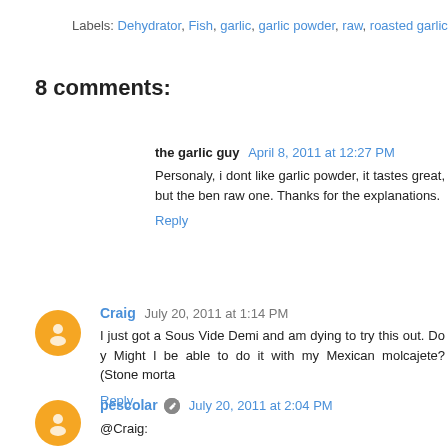Labels: Dehydrator, Fish, garlic, garlic powder, raw, roasted garlic powder
8 comments:
the garlic guy   April 8, 2011 at 12:27 PM
Personaly, i dont like garlic powder, it tastes great, but the ben... raw one. Thanks for the explanations.
Reply
Craig   July 20, 2011 at 1:14 PM
I just got a Sous Vide Demi and am dying to try this out. Do y... Might I be able to do it with my Mexican molcajete? (Stone morta...
Reply
pescolar   July 20, 2011 at 2:04 PM
@Craig:
I used a dedicated grinder. While I think its possible to do with...